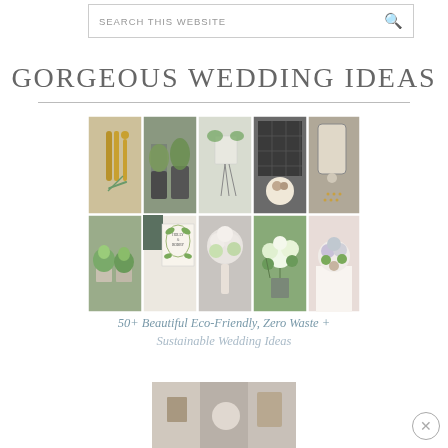SEARCH THIS WEBSITE
GORGEOUS WEDDING IDEAS
[Figure (photo): Photo collage of eco-friendly wedding ideas: wooden cutlery, air plants, floral sign, dark industrial venue, phone app, succulents, botanical invitation, white bouquet, flower arrangement, succulent bouquet]
50+ Beautiful Eco-Friendly, Zero Waste + Sustainable Wedding Ideas